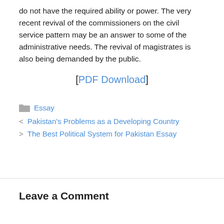do not have the required ability or power. The very recent revival of the commissioners on the civil service pattern may be an answer to some of the administrative needs. The revival of magistrates is also being demanded by the public.
[PDF Download]
Essay
Pakistan's Problems as a Developing Country
The Best Political System for Pakistan Essay
Leave a Comment